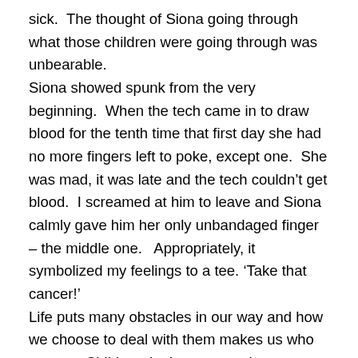sick.  The thought of Siona going through what those children were going through was unbearable. Siona showed spunk from the very beginning.  When the tech came in to draw blood for the tenth time that first day she had no more fingers left to poke, except one.  She was mad, it was late and the tech couldn't get blood.  I screamed at him to leave and Siona calmly gave him her only unbandaged finger – the middle one.   Appropriately, it symbolized my feelings to a tee. 'Take that cancer!' Life puts many obstacles in our way and how we choose to deal with them makes us who we are.  Children don't even see these obstacles.  They are usually experiencing everything for the first time, so to them, if it is new it must be normal…right?  To Siona, every kid was doing the things she was. Siona never cried about what was happening to her.  She